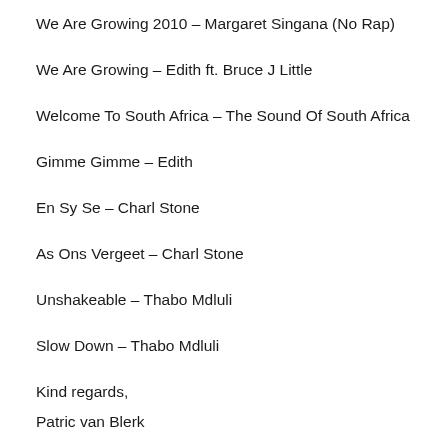We Are Growing 2010 – Margaret Singana (No Rap)
We Are Growing – Edith ft. Bruce J Little
Welcome To South Africa – The Sound Of South Africa
Gimme Gimme – Edith
En Sy Se – Charl Stone
As Ons Vergeet – Charl Stone
Unshakeable – Thabo Mdluli
Slow Down – Thabo Mdluli
Kind regards,
Patric van Blerk